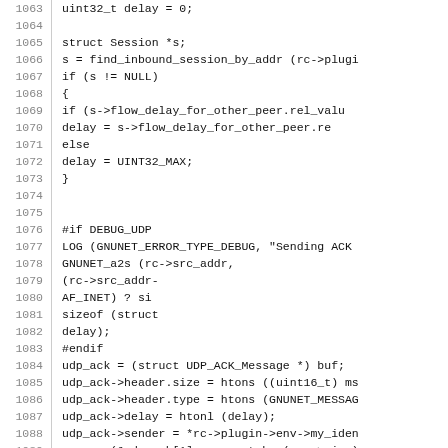Source code listing lines 1063-1092 showing C code for UDP ACK handling including session lookup, flow delay calculation, debug logging, and message construction.